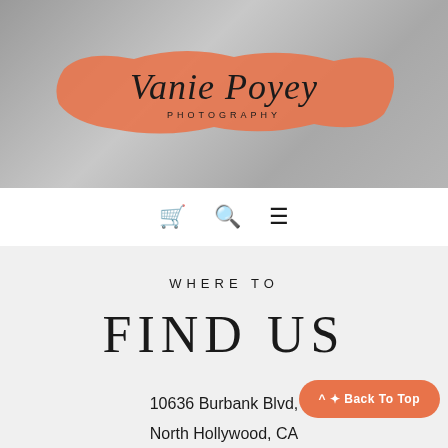[Figure (logo): Vanie Poyey Photography logo on orange brush stroke background with person in background]
[Figure (screenshot): Navigation bar with shopping cart icon, search icon, and hamburger menu icon]
WHERE TO
FIND US
10636 Burbank Blvd,
North Hollywood, CA
91601
^ + Back To Top